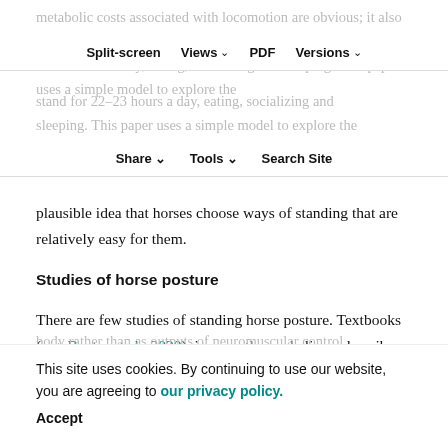metabolic costs associated with locomotion are obvious; it also takes some effort to stand still, and horses typically stand for 22–23 hours a day, eating, socializing and sleeping. This paper uses a simple model to explore the
Split-screen  Views  PDF  Versions  Share  Tools  Search Site
plausible idea that horses choose ways of standing that are relatively easy for them.
Studies of horse posture
There are few studies of standing horse posture. Textbooks (e.g. Baxter et al., 2020), incorrectly, we believe, describe some postures as 'conformations', categorizing these postures as built-in physical features of the horse's
body rather than as outputs of neuromuscular control. Horse postural sway has been characterized with stabilograms (trajectories of the net center of pressure) (Clayton et al., 2003; Clayton et al., 2013). As with humans,
This site uses cookies. By continuing to use our website, you are agreeing to our privacy policy.
Accept